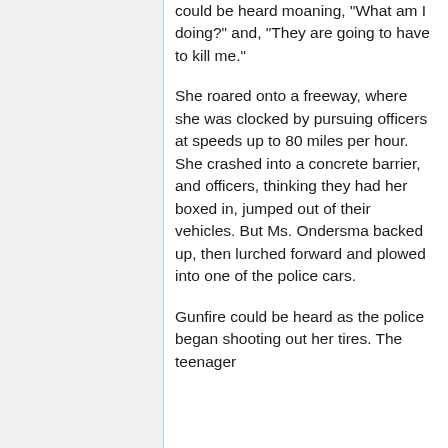could be heard moaning, "What am I doing?" and, "They are going to have to kill me."
She roared onto a freeway, where she was clocked by pursuing officers at speeds up to 80 miles per hour. She crashed into a concrete barrier, and officers, thinking they had her boxed in, jumped out of their vehicles. But Ms. Ondersma backed up, then lurched forward and plowed into one of the police cars.
Gunfire could be heard as the police began shooting out her tires. The teenager